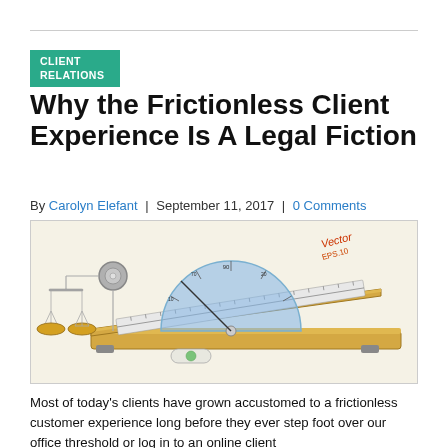CLIENT RELATIONS
Why the Frictionless Client Experience Is A Legal Fiction
By Carolyn Elefant | September 11, 2017 | 0 Comments
[Figure (illustration): Engineering/legal illustration showing a friction inclined plane apparatus with a ruler, protractor, and a scales of justice balance on the left, with 'Vector EPS.10' watermark text in top right.]
Most of today's clients have grown accustomed to a frictionless customer experience long before they ever step foot over our office threshold or log in to an online client portal. Most likely within hours of their first encounter with